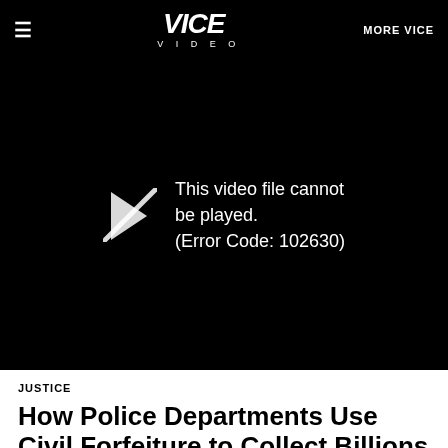≡  VICE VIDEO  MORE VICE
[Figure (screenshot): Black video player area showing error message: 'This video file cannot be played. (Error Code: 102630)' with a play icon arrow on the left.]
JUSTICE
How Police Departments Use Civil Forfeiture to Collect Billions
Based on laws that originated from the War on Drugs in the 1980s, police departments around the country are able to seize